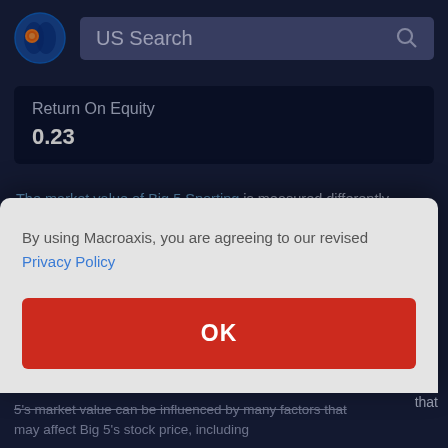US Search
| Return On Equity |
| --- |
| 0.23 |
The market value of Big 5 Sporting is measured differently than its book value, which is the value of Big 5 that is recorded on its balance sheet. Big 5 market value is also referred to as market capitalization and is derived from its stock price multiplied by the number of shares outstanding, which may also be impacted by dividends. Big 5 market value changes when investors buy or sell shares. Investors and analysts may use Big 5's market value can be influenced by many factors that may affect Big 5's stock price, including
By using Macroaxis, you are agreeing to our revised Privacy Policy
OK